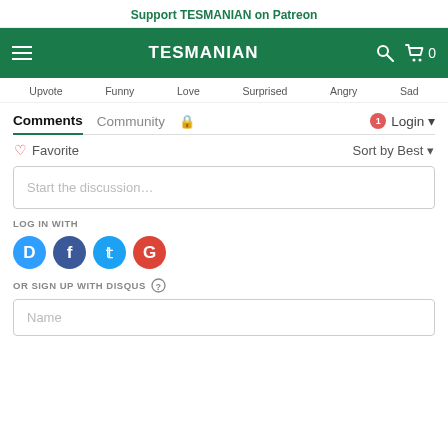Support TESMANIAN on Patreon
[Figure (screenshot): TESMANIAN website navigation bar with hamburger menu, logo, search icon, and cart with 0 items]
Upvote  Funny  Love  Surprised  Angry  Sad
Comments  Community  🔒  1  Login
♡ Favorite  Sort by Best
Start the discussion…
LOG IN WITH
[Figure (logo): Social login icons: Disqus (blue circle with D), Facebook (dark blue circle with f), Twitter (light blue circle with bird), Google (red circle with G)]
OR SIGN UP WITH DISQUS ?
Name